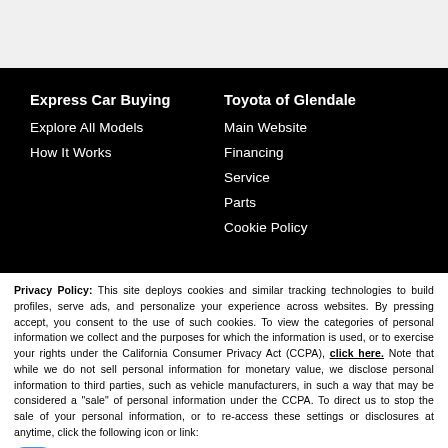Express Car Buying
Explore All Models
How It Works
Toyota of Glendale
Main Website
Financing
Service
Parts
Cookie Policy
Privacy Policy: This site deploys cookies and similar tracking technologies to build profiles, serve ads, and personalize your experience across websites. By pressing accept, you consent to the use of such cookies. To view the categories of personal information we collect and the purposes for which the information is used, or to exercise your rights under the California Consumer Privacy Act (CCPA), click here. Note that while we do not sell personal information for monetary value, we disclose personal information to third parties, such as vehicle manufacturers, in such a way that may be considered a "sale" of personal information under the CCPA. To direct us to stop the sale of your personal information, or to re-access these settings or disclosures at anytime, click the following icon or link:
[Figure (other): Toggle switch icon (blue) for privacy settings]